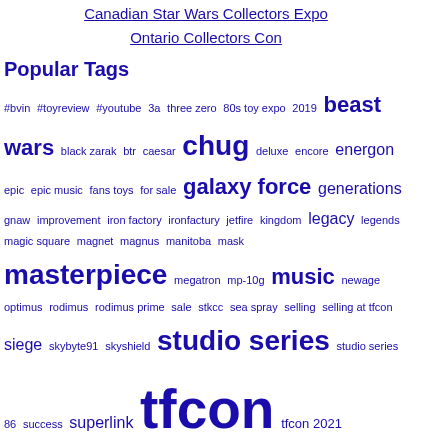Canadian Star Wars Collectors Expo Ontario Collectors Con
Popular Tags
#bvin #toyreview #youtube 3a three zero 80s toy expo 2019 beast wars black zarak btr caesar chug deluxe encore energon epic epic music fans toys for sale galaxy force generations gnaw improvement iron factory ironfactury jetfire kingdom legacy legends magic square magnet magnus manitoba mask masterpiece megatron mp-10g music newage optimus rodimus rodimus prime sale stkcc sea spray selling selling at tfcon siege skybyte91 skyshield studio series studio series 86 success superlink tfcon tfcon 2021
[Figure (photo): Transformers Legacy box art - purple/pink themed box with Motormaster figure]
Thanks to Cybe ProfessorMenas know that Transformers Motormaster h Canada.
The pre order w Ontario Gamest staff indicated they were expecting shelf
Share your sightings in the Canadian Transformers forum
6 Replies | 962 Views
Transformers Generations Legacy Deluxe Kickback and Skids Out in Canada
Jul 19, 2022 - 6:35 AM - by Super Mega
[Figure (photo): Transformers Legacy Deluxe Kickback figure art - yellow robot with Earth globe]
Transformers Legacy Deluxe Kickback, and released at Cana have been foun